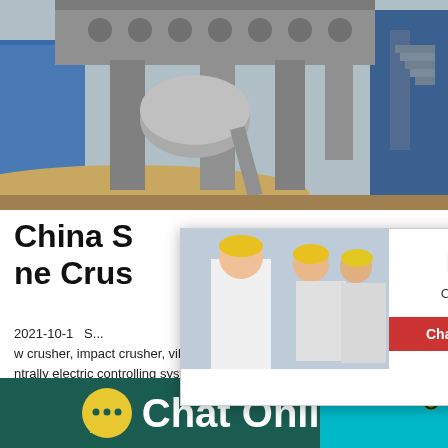[Figure (photo): Industrial crushing/screening equipment with large mechanical structure, legs/pillars, drum, with sandy ground and blue building in background]
China Stone Crusher / Stone Crushing ne Crusher
2021-10-1  S... w crusher, impact crusher, vibrating screen, b... ntrally electric controlling system, etc. The d... rom 50t/h to 500t/h. To meet customer's spec... can also add other equipments such as cone c...
[Figure (screenshot): Live chat popup with workers in hard hats, red LIVE CHAT text, 'Click for a Free Consultation', Chat now and Chat later buttons]
[Figure (infographic): Mood/satisfaction gauge widget with smiley faces and 'Click me to chat >>' button and Enquiry label]
Chat Online